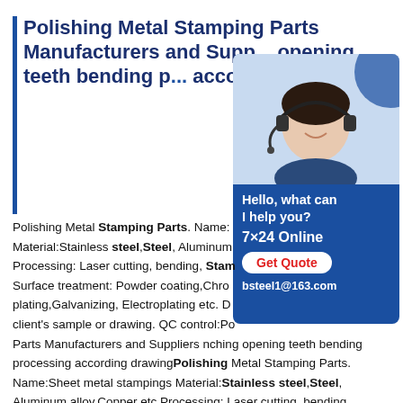Polishing Metal Stamping Parts Manufacturers and Suppliers opening teeth bending processing according drawing
[Figure (photo): Customer service representative wearing headset, smiling, with chat widget overlay showing Hello what can I help you?, 7x24 Online, Get Quote button, and bsteel1@163.com contact]
Polishing Metal Stamping Parts. Name: Material:Stainless steel,Steel, Aluminum Processing: Laser cutting, bending, Stamping Surface treatment: Powder coating,Chrome plating,Galvanizing, Electroplating etc. Design from client's sample or drawing. QC control:Polishing Metal Stamping Parts Manufacturers and Suppliers nching opening teeth bending processing according drawing Polishing Metal Stamping Parts. Name:Sheet metal stampings Material:Stainless steel,Steel, Aluminum alloy,Copper etc Processing: Laser cutting, bending, Stamping, Welding etc Surface treatment: Powder coating,Chrome plating,Zinc plating,Galvanizing, Electroplating